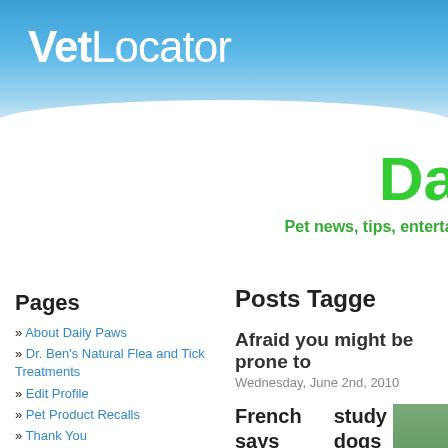[Figure (logo): VetLocator logo in white bold text on blue gradient header background]
Da
Pet news, tips, entertai...
Pages
» About Daily Paws
» Dr. Ben’s Natural Flea and Tick Treatments
» Edit Profile
» Pet Product Recalls
» Thank You
Pet Health and Safety Widget
Pet Health and Safety Widget. Flash Player 9 is required. Pet Health and Safety Widget. Flash Player 9 is required.
Posts Tagge...
Afraid you might be prone to...
Wednesday, June 2nd, 2010
French study says dogs can detect prostate cancer
There is new research that suggests dogs can sniff out...